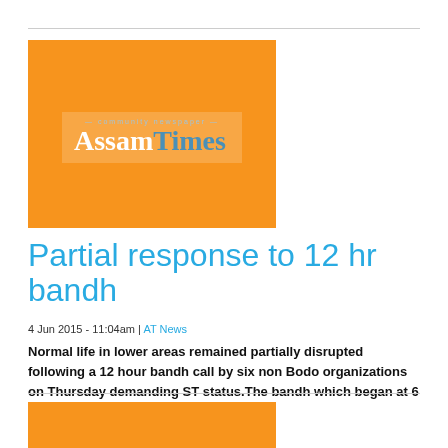[Figure (logo): AssamTimes community newspaper logo on orange background]
Partial response to 12 hr bandh
4 Jun 2015 - 11:04am | AT News
Normal life in lower areas remained partially disrupted following a 12 hour bandh call by six non Bodo organizations on Thursday demanding ST status.The bandh which began at 6 in the morning evoked…
[Figure (logo): AssamTimes logo on orange background (partial, bottom of page)]